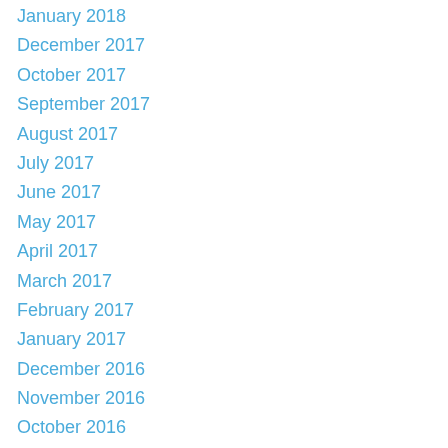January 2018
December 2017
October 2017
September 2017
August 2017
July 2017
June 2017
May 2017
April 2017
March 2017
February 2017
January 2017
December 2016
November 2016
October 2016
September 2016
August 2016
July 2016
June 2016
May 2016